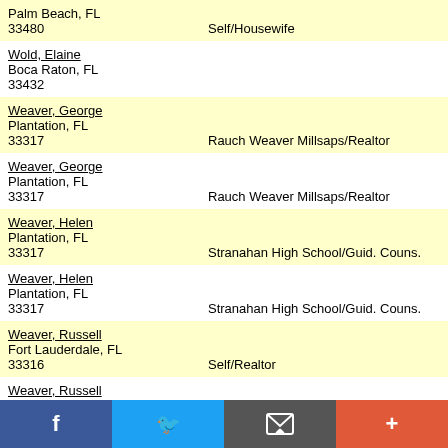Palm Beach, FL 33480 | Self/Housewife
Wold, Elaine | Boca Raton, FL 33432
Weaver, George | Plantation, FL 33317 | Rauch Weaver Millsaps/Realtor
Weaver, George | Plantation, FL 33317 | Rauch Weaver Millsaps/Realtor
Weaver, Helen | Plantation, FL 33317 | Stranahan High School/Guid. Couns.
Weaver, Helen | Plantation, FL 33317 | Stranahan High School/Guid. Couns.
Weaver, Russell | Fort Lauderdale, FL 33316 | Self/Realtor
Weaver, Russell | Fort Lauderdale, FL 33316 | Self/Realtor
Weaver, Todd | Fort Lauderdale, FL